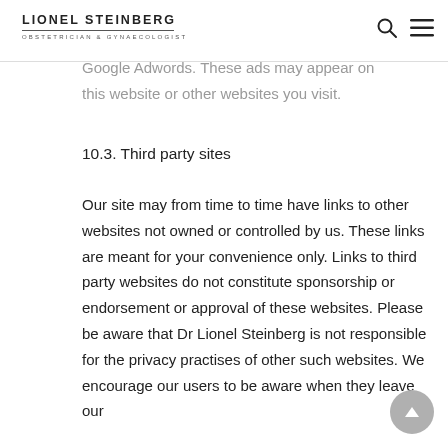LIONEL STEINBERG OBSTETRICIAN & GYNAECOLOGIST
Google Adwords. These ads may appear on this website or other websites you visit.
10.3. Third party sites
Our site may from time to time have links to other websites not owned or controlled by us. These links are meant for your convenience only. Links to third party websites do not constitute sponsorship or endorsement or approval of these websites. Please be aware that Dr Lionel Steinberg is not responsible for the privacy practises of other such websites. We encourage our users to be aware when they leave our